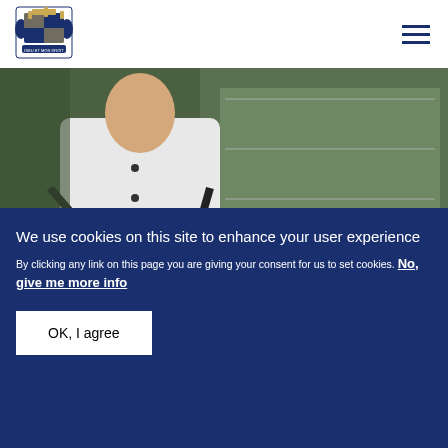[Figure (logo): Royal Household coat of arms logo in blue and gold]
[Figure (photo): A chef in white uniform and black apron standing in a professional kitchen]
FEATURE
Apprenticeships at the Royal Household
We use cookies on this site to enhance your user experience
By clicking any link on this page you are giving your consent for us to set cookies. No, give me more info
OK, I agree